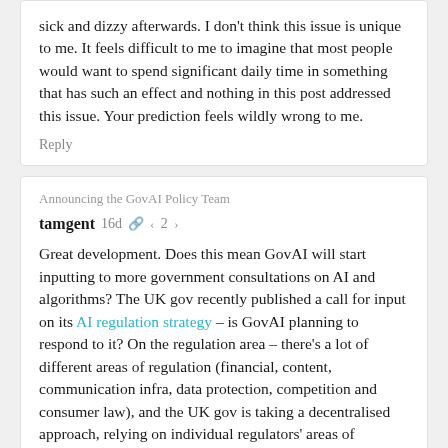sick and dizzy afterwards. I don't think this issue is unique to me. It feels difficult to me to imagine that most people would want to spend significant daily time in something that has such an effect and nothing in this post addressed this issue. Your prediction feels wildly wrong to me.
Reply
Announcing the GovAI Policy Team
tamgent   16d  2
Great development. Does this mean GovAI will start inputting to more government consultations on AI and algorithms? The UK gov recently published a call for input on its AI regulation strategy – is GovAI planning to respond to it? On the regulation area – there's a lot of different areas of regulation (financial, content, communication infra, data protection, competition and consumer law), and the UK gov is taking a decentralised approach, relying on individual regulators' areas of expertise rather than creating a central body. How will GovAI stay on top of